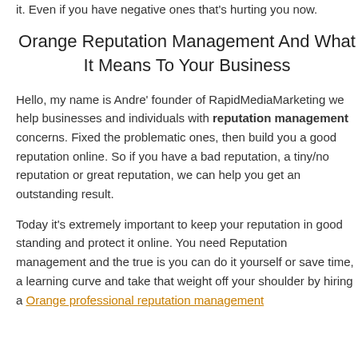it. Even if you have negative ones that's hurting you now.
Orange Reputation Management And What It Means To Your Business
Hello, my name is Andre' founder of RapidMediaMarketing we help businesses and individuals with reputation management concerns. Fixed the problematic ones, then build you a good reputation online. So if you have a bad reputation, a tiny/no reputation or great reputation, we can help you get an outstanding result.
Today it's extremely important to keep your reputation in good standing and protect it online. You need Reputation management and the true is you can do it yourself or save time, a learning curve and take that weight off your shoulder by hiring a Orange professional reputation management